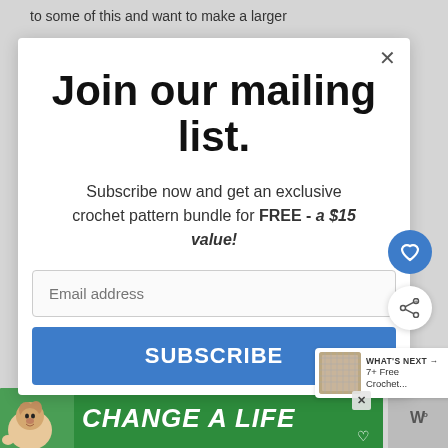to some of this and want to make a larger
Join our mailing list.
Subscribe now and get an exclusive crochet pattern bundle for FREE - a $15 value!
Email address
SUBSCRIBE
[Figure (screenshot): WHAT'S NEXT arrow label with thumbnail of crochet image and text '7+ Free Crochet...']
[Figure (screenshot): Green advertisement bar with dog image and text 'CHANGE A LIFE']